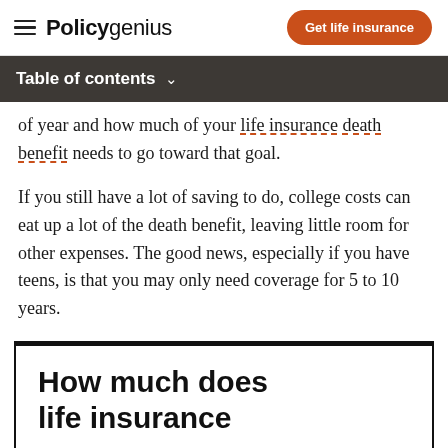Policygenius | Get life insurance
Table of contents
of year and how much of your life insurance death benefit needs to go toward that goal.
If you still have a lot of saving to do, college costs can eat up a lot of the death benefit, leaving little room for other expenses. The good news, especially if you have teens, is that you may only need coverage for 5 to 10 years.
How much does life insurance